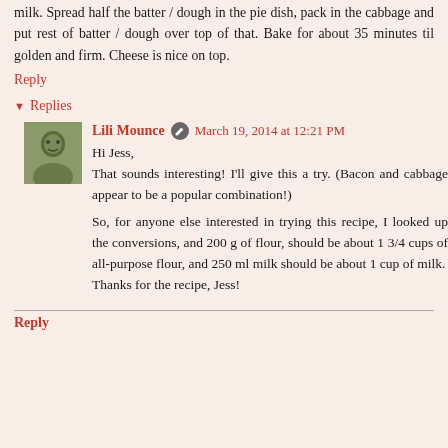milk. Spread half the batter / dough in the pie dish, pack in the cabbage and put rest of batter / dough over top of that. Bake for about 35 minutes til golden and firm. Cheese is nice on top.
Reply
Replies
Lili Mounce  March 19, 2014 at 12:21 PM
Hi Jess,
That sounds interesting! I'll give this a try. (Bacon and cabbage appear to be a popular combination!)

So, for anyone else interested in trying this recipe, I looked up the conversions, and 200 g of flour, should be about 1 3/4 cups of all-purpose flour, and 250 ml milk should be about 1 cup of milk.
Thanks for the recipe, Jess!
Reply